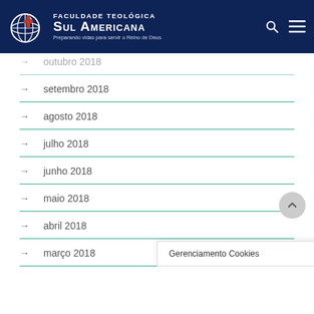[Figure (logo): Faculdade Teológica Sul Americana logo with globe and cross icon, white text on dark navy background. Tagline: Preparando vidas para servir o Reino de Deus]
→ outubro 2018
→ setembro 2018
→ agosto 2018
→ julho 2018
→ junho 2018
→ maio 2018
→ abril 2018
→ março 2018
Gerenciamento Cookies